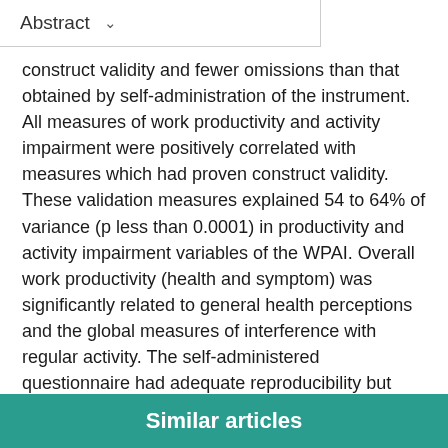Abstract
construct validity and fewer omissions than that obtained by self-administration of the instrument. All measures of work productivity and activity impairment were positively correlated with measures which had proven construct validity. These validation measures explained 54 to 64% of variance (p less than 0.0001) in productivity and activity impairment variables of the WPAI. Overall work productivity (health and symptom) was significantly related to general health perceptions and the global measures of interference with regular activity. The self-administered questionnaire had adequate reproducibility but less construct validity than interviewer administration. Both administration methods of the WPAI warrant further evaluation as a measure of morbidity.
Similar articles